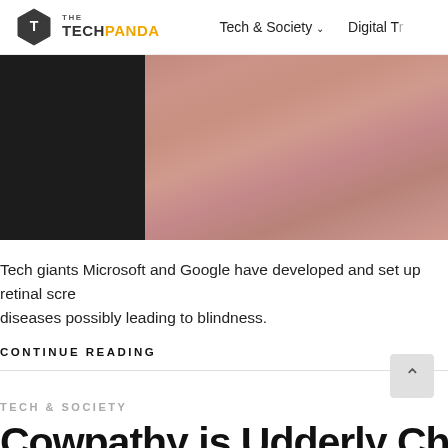THE TECH PANDA | Tech & Society | Digital Tr...
[Figure (photo): Close-up hero image split into dark left panel and pinkish-skin-tone right panel showing fabric or skin texture]
Tech giants Microsoft and Google have developed and set up retinal scre... diseases possibly leading to blindness.
CONTINUE READING
TECH & SOCIETY
Cowpathy is Udderly Cha...